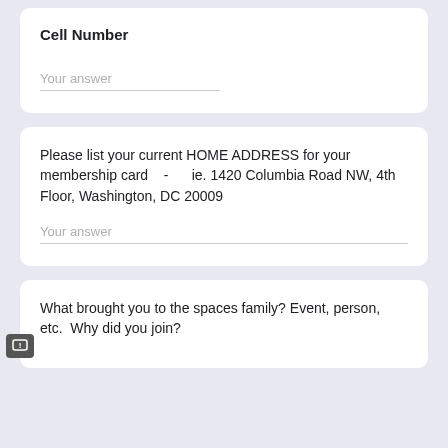Cell Number
Your answer
Please list your current HOME ADDRESS for your membership card    -      ie. 1420 Columbia Road NW, 4th Floor, Washington, DC 20009
Your answer
What brought you to the spaces family? Event, person, etc.  Why did you join?